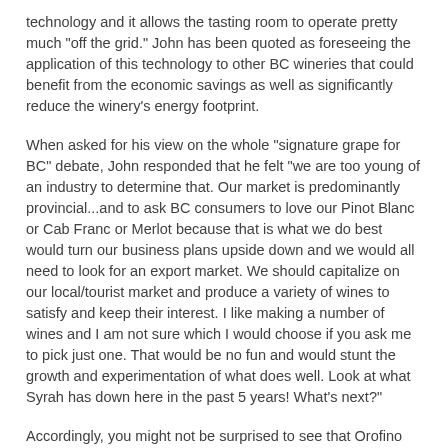technology and it allows the tasting room to operate pretty much "off the grid." John has been quoted as foreseeing the application of this technology to other BC wineries that could benefit from the economic savings as well as significantly reduce the winery's energy footprint.
When asked for his view on the whole "signature grape for BC" debate, John responded that he felt "we are too young of an industry to determine that. Our market is predominantly provincial...and to ask BC consumers to love our Pinot Blanc or Cab Franc or Merlot because that is what we do best would turn our business plans upside down and we would all need to look for an export market. We should capitalize on our local/tourist market and produce a variety of wines to satisfy and keep their interest. I like making a number of wines and I am not sure which I would choose if you ask me to pick just one. That would be no fun and would stunt the growth and experimentation of what does well. Look at what Syrah has down here in the past 5 years! What's next?"
Accordingly, you might not be surprised to see that Orofino produces a healthy range of whites and reds - and even a